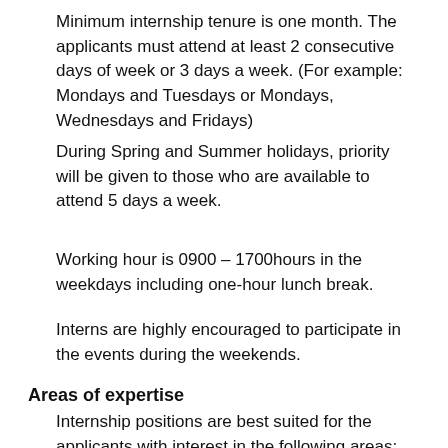Minimum internship tenure is one month. The applicants must attend at least 2 consecutive days of week or 3 days a week. (For example: Mondays and Tuesdays or Mondays, Wednesdays and Fridays)
During Spring and Summer holidays, priority will be given to those who are available to attend 5 days a week.
Working hour is 0900 – 1700hours in the weekdays including one-hour lunch break.
Interns are highly encouraged to participate in the events during the weekends.
Areas of expertise
Internship positions are best suited for the applicants with interest in the following areas: